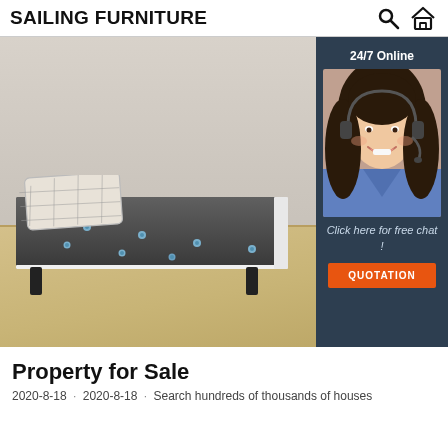SAILING FURNITURE
[Figure (photo): A grey tufted daybed/sofa with a plaid pillow on top, set on a light wood floor against a light grey wall. A customer service overlay shows '24/7 Online', a smiling female agent with headset, 'Click here for free chat!', and an orange QUOTATION button.]
Property for Sale
2020-8-18 · 2020-8-18 · Search hundreds of thousands of houses